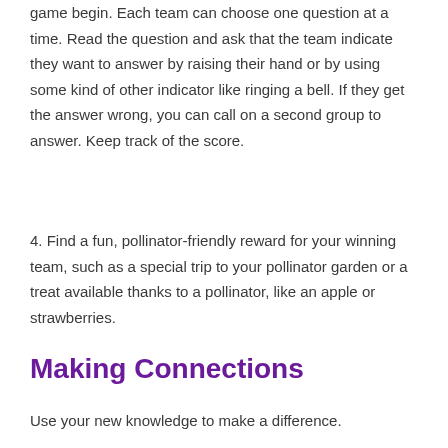game begin. Each team can choose one question at a time. Read the question and ask that the team indicate they want to answer by raising their hand or by using some kind of other indicator like ringing a bell. If they get the answer wrong, you can call on a second group to answer. Keep track of the score.
4. Find a fun, pollinator-friendly reward for your winning team, such as a special trip to your pollinator garden or a treat available thanks to a pollinator, like an apple or strawberries.
Making Connections
Use your new knowledge to make a difference.